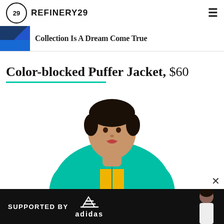REFINERY29
Collection Is A Dream Come True
Color-blocked Puffer Jacket, $60
[Figure (photo): A model wearing a color-blocked puffer jacket in teal/green and dark green with a yellow top underneath, against a white background.]
SUPPORTED BY adidas